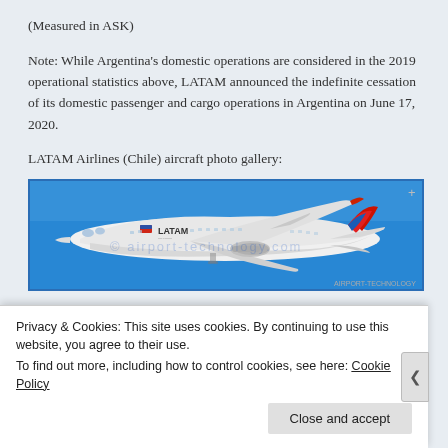(Measured in ASK)
Note: While Argentina's domestic operations are considered in the 2019 operational statistics above, LATAM announced the indefinite cessation of its domestic passenger and cargo operations in Argentina on June 17, 2020.
LATAM Airlines (Chile) aircraft photo gallery:
[Figure (photo): Photo of a LATAM Airlines aircraft (white Boeing 787 with red/blue tail) in flight against a blue sky. Watermark overlay visible.]
Privacy & Cookies: This site uses cookies. By continuing to use this website, you agree to their use.
To find out more, including how to control cookies, see here: Cookie Policy
Close and accept